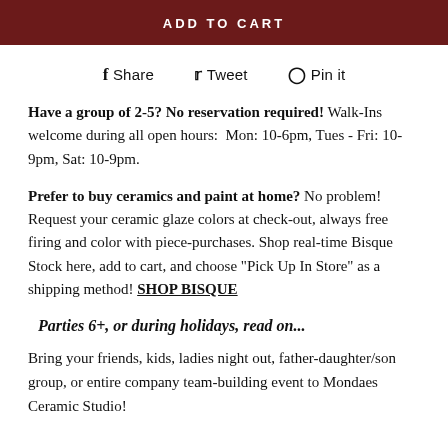[Figure (other): Dark red/maroon Add to Cart button]
f Share   Tweet   Pin it
Have a group of 2-5? No reservation required! Walk-Ins welcome during all open hours:  Mon: 10-6pm, Tues - Fri: 10-9pm, Sat: 10-9pm.
Prefer to buy ceramics and paint at home? No problem! Request your ceramic glaze colors at check-out, always free firing and color with piece-purchases. Shop real-time Bisque Stock here, add to cart, and choose "Pick Up In Store" as a shipping method! SHOP BISQUE
Parties 6+, or during holidays, read on...
Bring your friends, kids, ladies night out, father-daughter/son group, or entire company team-building event to Mondaes Ceramic Studio!